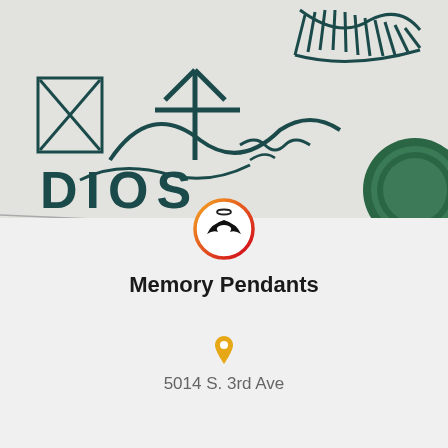[Figure (photo): Zoomed-in portion of a logo showing partial text 'DIOS' and dark teal calligraphic letters, with a green circular seal/stamp at the right edge, on a light background.]
[Figure (logo): Circular logo with gradient orange-to-red border, containing a black angel wings icon with a small halo above.]
Memory Pendants
[Figure (other): Yellow/gold map location pin icon]
5014 S. 3rd Ave